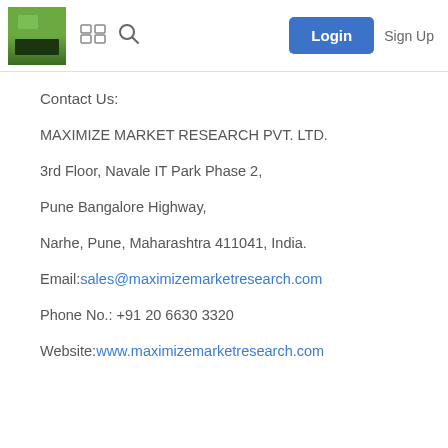[Figure (screenshot): Website navigation bar with logo, grid icon, search icon, Login button and Sign Up link]
Contact Us:
MAXIMIZE MARKET RESEARCH PVT. LTD.
3rd Floor, Navale IT Park Phase 2,
Pune Bangalore Highway,
Narhe, Pune, Maharashtra 411041, India.
Email:sales@maximizemarketresearch.com
Phone No.: +91 20 6630 3320
Website:www.maximizemarketresearch.com